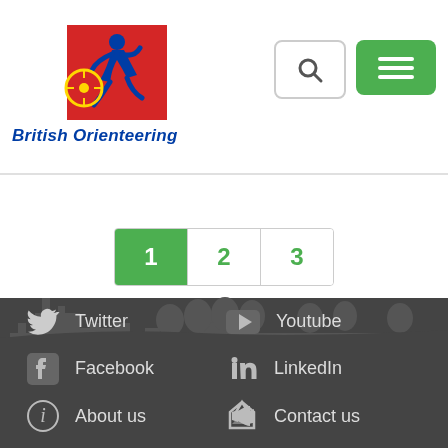[Figure (logo): British Orienteering logo with runner and compass rose, text 'British Orienteering' in dark blue italic]
[Figure (other): Search icon button (magnifying glass) and green hamburger menu button in header]
[Figure (other): Pagination control showing pages 1 (active/green), 2, 3]
[Figure (illustration): Silhouette cityscape and trees illustration transitioning to dark footer]
Twitter
Youtube
Facebook
LinkedIn
About us
Contact us